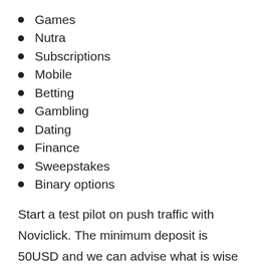Games
Nutra
Subscriptions
Mobile
Betting
Gambling
Dating
Finance
Sweepstakes
Binary options
Start a test pilot on push traffic with Noviclick. The minimum deposit is 50USD and we can advise what is wise in terms of budget and creatives to use for your campaign.